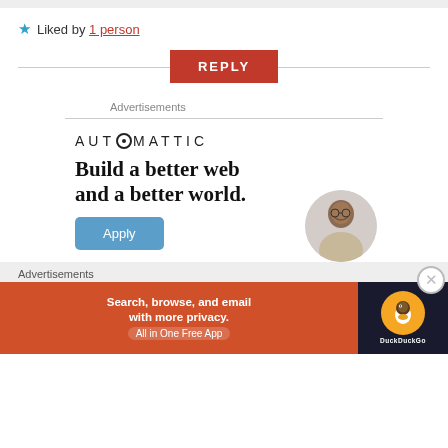★ Liked by 1 person
REPLY
Advertisements
[Figure (logo): Automattic logo with compass/circle icon and text AUTOMATTIC]
Build a better web and a better world.
Apply
[Figure (photo): Circular photo of a smiling man looking upward, wearing a beige shirt]
Advertisements
[Figure (infographic): DuckDuckGo advertisement banner: orange section with text 'Search, browse, and email with more privacy. All in One Free App' and dark section with DuckDuckGo logo]